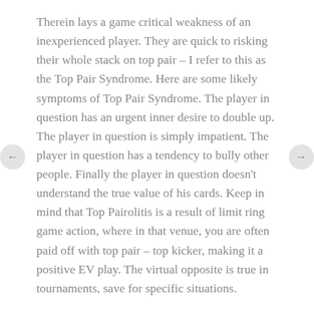Therein lays a game critical weakness of an inexperienced player. They are quick to risking their whole stack on top pair – I refer to this as the Top Pair Syndrome. Here are some likely symptoms of Top Pair Syndrome. The player in question has an urgent inner desire to double up. The player in question is simply impatient. The player in question has a tendency to bully other people. Finally the player in question doesn't understand the true value of his cards. Keep in mind that Top Pairolitis is a result of limit ring game action, where in that venue, you are often paid off with top pair – top kicker, making it a positive EV play. The virtual opposite is true in tournaments, save for specific situations.